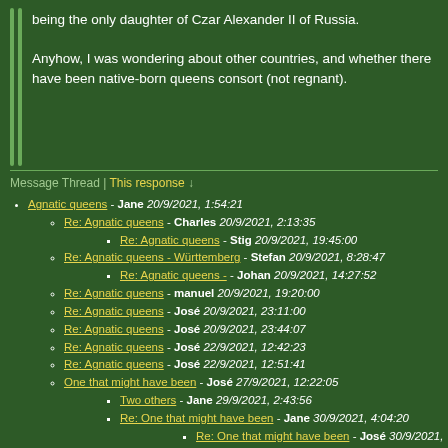being the only daughter of Czar Alexander II of Russia.
Anyhow, I was wondering about other countries, and whether there have been native-born queens consort (not regnant).
Message Thread | This response ↓
Agnatic queens - Jane 20/9/2021, 1:54:21
Re: Agnatic queens - Charles 20/9/2021, 2:13:35
Re: Agnatic queens - Stig 20/9/2021, 19:45:00
Re: Agnatic queens - Württemberg - Stefan 20/9/2021, 8:28:47
Re: Agnatic queens - - Johan 20/9/2021, 14:27:52
Re: Agnatic queens - manuel 20/9/2021, 19:20:00
Re: Agnatic queens - José 20/9/2021, 23:11:00
Re: Agnatic queens - José 20/9/2021, 23:44:07
Re: Agnatic queens - José 22/9/2021, 12:42:23
Re: Agnatic queens - José 22/9/2021, 12:51:41
One that might have been - José 27/9/2021, 12:22:05
Two others - Jane 29/9/2021, 2:43:56
Re: One that might have been - Jane 30/9/2021, 4:04:20
Re: One that might have been - José 30/9/2021, 12:47:02
Re: One that might have been - Jane 30/9/2021, 13:37:48
Re: One that might have been - José 30/9/2021,